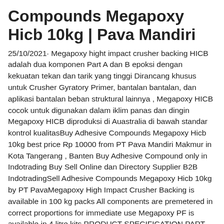Compounds Megapoxy Hicb 10kg | Pava Mandiri
25/10/2021· Megapoxy hight impact crusher backing HICB adalah dua komponen Part A dan B epoksi dengan kekuatan tekan dan tarik yang tinggi Dirancang khusus untuk Crusher Gyratory Primer, bantalan bantalan, dan aplikasi bantalan beban struktural lainnya , Megapoxy HICB cocok untuk digunakan dalam iklim panas dan dingin Megapoxy HICB diproduksi di Auastralia di bawah standar kontrol kualitasBuy Adhesive Compounds Megapoxy Hicb 10kg best price Rp 10000 from PT Pava Mandiri Makmur in Kota Tangerang , Banten Buy Adhesive Compound only in Indotrading Buy Sell Online dan Directory Supplier B2B IndotradingSell Adhesive Compounds Megapoxy Hicb 10kg by PT PavaMegapoxy High Impact Crusher Backing is available in 100 kg packs All components are premetered in correct proportions for immediate use Megapoxy PF is available in 4 litre kits PRODUCT SPECIFICATION PART “A” PART “B” Colour Viscosity cps at 25°C Specific Gravity